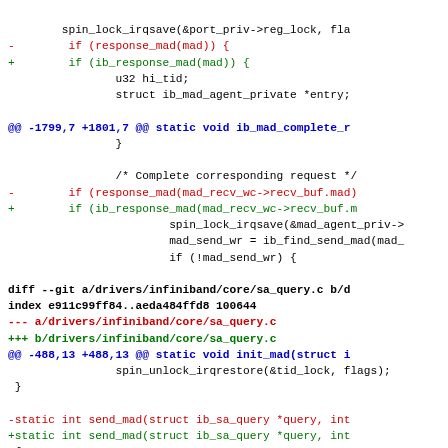spin_lock_irqsave(&port_priv->reg_lock, fla
-        if (response_mad(mad)) {
+        if (ib_response_mad(mad)) {
u32 hi_tid;
struct ib_mad_agent_private *entry;
@@ -1799,7 +1801,7 @@ static void ib_mad_complete_r
}
/* Complete corresponding request */
-        if (response_mad(mad_recv_wc->recv_buf.mad)
+        if (ib_response_mad(mad_recv_wc->recv_buf.m
spin_lock_irqsave(&mad_agent_priv->
mad_send_wr = ib_find_send_mad(mad_
if (!mad_send_wr) {
diff --git a/drivers/infiniband/core/sa_query.c b/d
index e911c99ff84..aeda484ffd8 100644
--- a/drivers/infiniband/core/sa_query.c
+++ b/drivers/infiniband/core/sa_query.c
@@ -488,13 +488,13 @@ static void init_mad(struct i
spin_unlock_irqrestore(&tid_lock, flags);
}
-static int send_mad(struct ib_sa_query *query, int
+static int send_mad(struct ib_sa_query *query, int
{
unsigned long flags;
int ret, id;
retry: